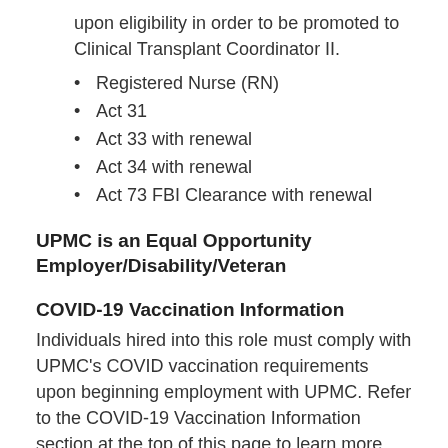upon eligibility in order to be promoted to Clinical Transplant Coordinator II.
Registered Nurse (RN)
Act 31
Act 33 with renewal
Act 34 with renewal
Act 73 FBI Clearance with renewal
UPMC is an Equal Opportunity Employer/Disability/Veteran
COVID-19 Vaccination Information
Individuals hired into this role must comply with UPMC's COVID vaccination requirements upon beginning employment with UPMC. Refer to the COVID-19 Vaccination Information section at the top of this page to learn more.
Total Rewards